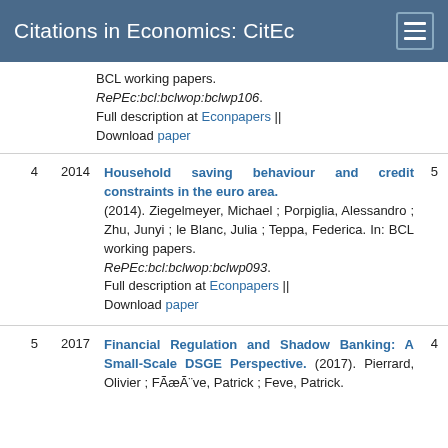Citations in Economics: CitEc
BCL working papers. RePEc:bcl:bclwop:bclwp106. Full description at Econpapers || Download paper
4  2014  Household saving behaviour and credit constraints in the euro area. (2014). Ziegelmeyer, Michael ; Porpiglia, Alessandro ; Zhu, Junyi ; le Blanc, Julia ; Teppa, Federica. In: BCL working papers. RePEc:bcl:bclwop:bclwp093. Full description at Econpapers || Download paper  5
5  2017  Financial Regulation and Shadow Banking: A Small-Scale DSGE Perspective. (2017). Pierrard, Olivier ; FÃæÃ¨ve, Patrick ; Feve, Patrick.  4